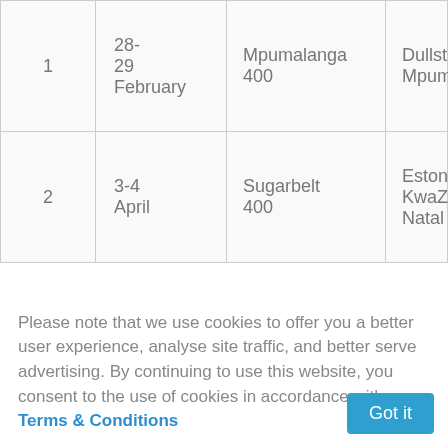| # | Date | Region/Points | Venue |
| --- | --- | --- | --- |
| 1 | 28-29 February | Mpumalanga 400 | Dullstroom Mpumala… |
| 2 | 3-4 April | Sugarbelt 400 | Eston, KwaZulu-Natal |
Please note that we use cookies to offer you a better user experience, analyse site traffic, and better serve advertising. By continuing to use this website, you consent to the use of cookies in accordance with our Terms & Conditions